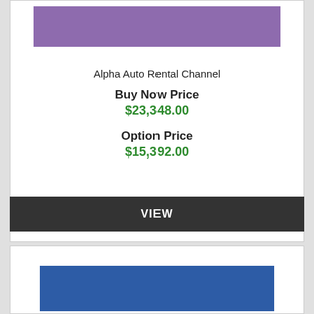[Figure (other): Purple rectangular placeholder image at the top of the first card]
Alpha Auto Rental Channel
Buy Now Price
$23,348.00
Option Price
$15,392.00
VIEW
[Figure (other): Blue rectangular placeholder image at the top of the second card]